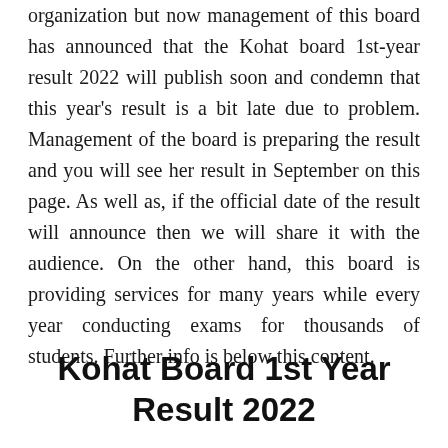organization but now management of this board has announced that the Kohat board 1st-year result 2022 will publish soon and condemn that this year's result is a bit late due to problem. Management of the board is preparing the result and you will see her result in September on this page. As well as, if the official date of the result will announce then we will share it with the audience. On the other hand, this board is providing services for many years while every year conducting exams for thousands of students. Further info is below this content.
Kohat Board 1st Year Result 2022